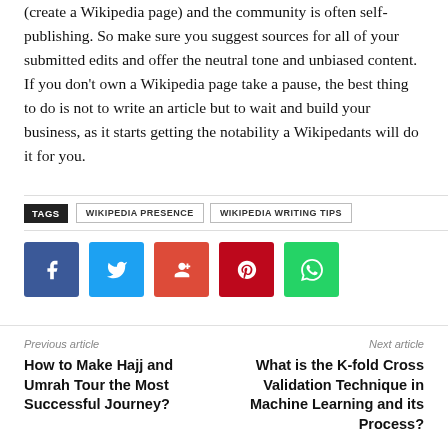(create a Wikipedia page) and the community is often self-publishing. So make sure you suggest sources for all of your submitted edits and offer the neutral tone and unbiased content. If you don't own a Wikipedia page take a pause, the best thing to do is not to write an article but to wait and build your business, as it starts getting the notability a Wikipedants will do it for you.
TAGS  WIKIPEDIA PRESENCE  WIKIPEDIA WRITING TIPS
[Figure (infographic): Social share buttons: Facebook (blue), Twitter (light blue), Google+ (red), Pinterest (dark red), WhatsApp (green)]
Previous article
How to Make Hajj and Umrah Tour the Most Successful Journey?
Next article
What is the K-fold Cross Validation Technique in Machine Learning and its Process?